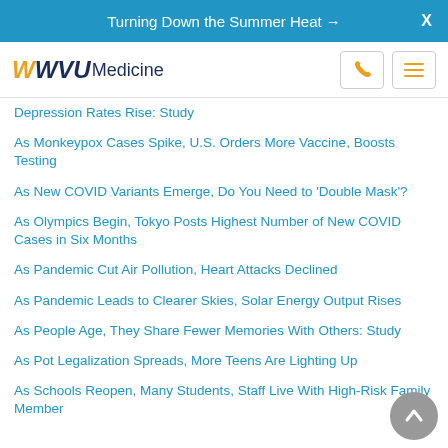Turning Down the Summer Heat →  X
WVU Medicine
Depression Rates Rise: Study
As Monkeypox Cases Spike, U.S. Orders More Vaccine, Boosts Testing
As New COVID Variants Emerge, Do You Need to 'Double Mask'?
As Olympics Begin, Tokyo Posts Highest Number of New COVID Cases in Six Months
As Pandemic Cut Air Pollution, Heart Attacks Declined
As Pandemic Leads to Clearer Skies, Solar Energy Output Rises
As People Age, They Share Fewer Memories With Others: Study
As Pot Legalization Spreads, More Teens Are Lighting Up
As Schools Reopen, Many Students, Staff Live With High-Risk Family Member